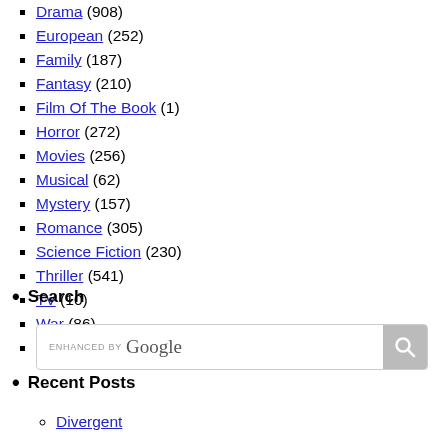Drama (908)
European (252)
Family (187)
Fantasy (210)
Film Of The Book (1)
Horror (272)
Movies (256)
Musical (62)
Mystery (157)
Romance (305)
Science Fiction (230)
Thriller (541)
TV (10)
War (86)
Westerns (27)
Search
[Figure (other): Google enhanced search box with search button]
Recent Posts
Divergent